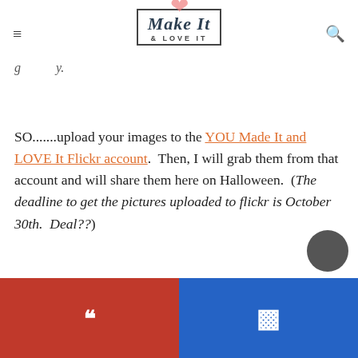Make It & LOVE IT
SO.......upload your images to the YOU Made It and LOVE It Flickr account.  Then, I will grab them from that account and will share them here on Halloween.  (The deadline to get the pictures uploaded to flickr is October 30th.  Deal??)
.....